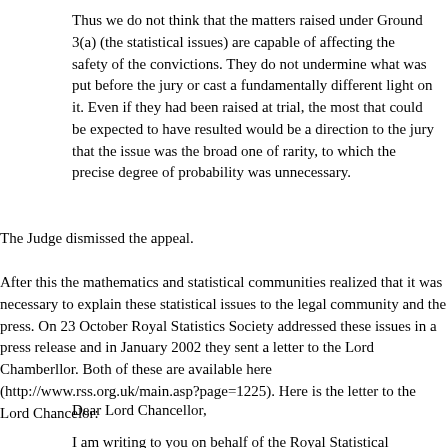Thus we do not think that the matters raised under Ground 3(a) (the statistical issues) are capable of affecting the safety of the convictions. They do not undermine what was put before the jury or cast a fundamentally different light on it. Even if they had been raised at trial, the most that could be expected to have resulted would be a direction to the jury that the issue was the broad one of rarity, to which the precise degree of probability was unnecessary.
The Judge dismissed the appeal.
After this the mathematics and statistical communities realized that it was necessary to explain these statistical issues to the legal community and the press. On 23 October Royal Statistics Society addressed these issues in a press release and in January 2002 they sent a letter to the Lord Chamberllor. Both of these are available here (http://www.rss.org.uk/main.asp?page=1225). Here is the letter to the Lord Chancelor:
Dear Lord Chancellor,
I am writing to you on behalf of the Royal Statistical